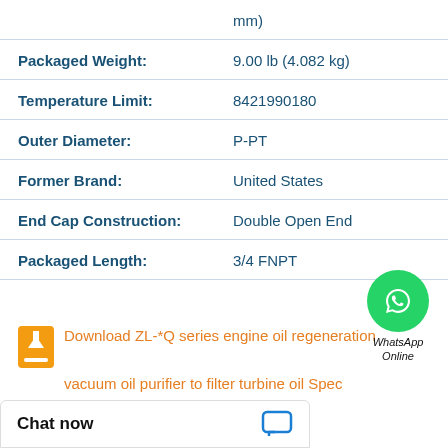| Property | Value |
| --- | --- |
|  | mm) |
| Packaged Weight: | 9.00 lb (4.082 kg) |
| Temperature Limit: | 8421990180 |
| Outer Diameter: | P-PT |
| Former Brand: | United States |
| End Cap Construction: | Double Open End |
| Packaged Length: | 3/4 FNPT |
Download ZL-*Q series engine oil regeneration vacuum oil purifier to filter turbine oil Spec
Chat now